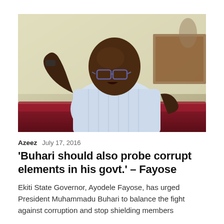[Figure (photo): A bald man wearing glasses and a light blue striped shirt, seated on a dark red leather sofa, gesturing with his right hand. Background shows a wooden furniture piece and light-colored wall.]
Azeez   July 17, 2016
'Buhari should also probe corrupt elements in his govt.' – Fayose
Ekiti State Governor, Ayodele Fayose, has urged President Muhammadu Buhari to balance the fight against corruption and stop shielding members